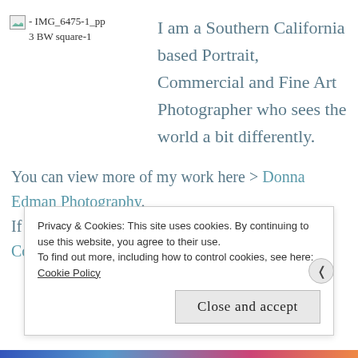[Figure (photo): Broken image placeholder labeled '- IMG_6475-1_pp3 BW square-1']
I am a Southern California based Portrait, Commercial and Fine Art Photographer who sees the world a bit differently.
You can view more of my work here > Donna Edman Photography. If you'd like to book a session, I'd be honored > Contact Me.
Privacy & Cookies: This site uses cookies. By continuing to use this website, you agree to their use. To find out more, including how to control cookies, see here: Cookie Policy
Close and accept